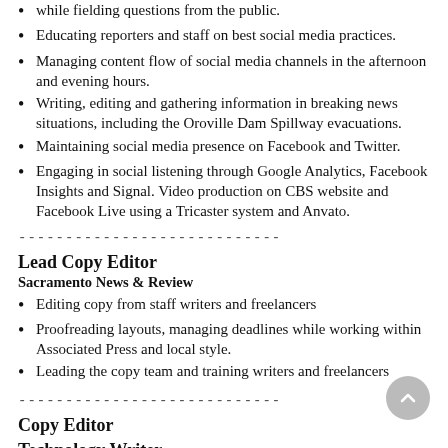while fielding questions from the public.
Educating reporters and staff on best social media practices.
Managing content flow of social media channels in the afternoon and evening hours.
Writing, editing and gathering information in breaking news situations, including the Oroville Dam Spillway evacuations.
Maintaining social media presence on Facebook and Twitter.
Engaging in social listening through Google Analytics, Facebook Insights and Signal. Video production on CBS website and Facebook Live using a Tricaster system and Anvato.
----------------------------
Lead Copy Editor
Sacramento News & Review
Editing copy from staff writers and freelancers
Proofreading layouts, managing deadlines while working within Associated Press and local style.
Leading the copy team and training writers and freelancers
----------------------------
Copy Editor
Technology Writer